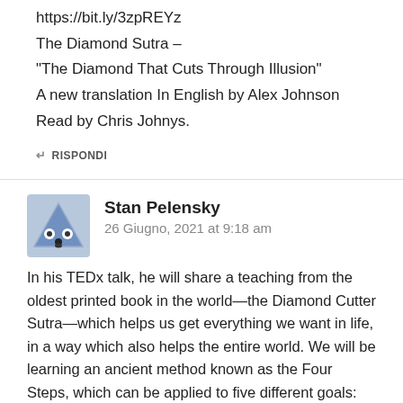https://bit.ly/3zpREYz
The Diamond Sutra –
"The Diamond That Cuts Through Illusion"
A new translation In English by Alex Johnson
Read by Chris Johnys.
↵ RISPONDI
Stan Pelensky
26 Giugno, 2021 at 9:18 am
In his TEDx talk, he will share a teaching from the oldest printed book in the world—the Diamond Cutter Sutra—which helps us get everything we want in life, in a way which also helps the entire world. We will be learning an ancient method known as the Four Steps, which can be applied to five different goals: financial independence for the rest of our life; great personal and professional